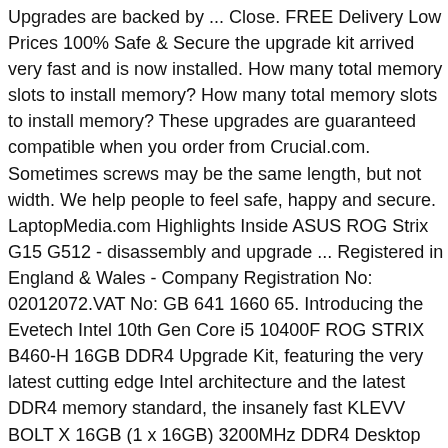Upgrades are backed by ... Close. FREE Delivery Low Prices 100% Safe & Secure the upgrade kit arrived very fast and is now installed. How many total memory slots to install memory? How many total memory slots to install memory? These upgrades are guaranteed compatible when you order from Crucial.com. Sometimes screws may be the same length, but not width. We help people to feel safe, happy and secure. LaptopMedia.com Highlights Inside ASUS ROG Strix G15 G512 - disassembly and upgrade ... Registered in England & Wales - Company Registration No: 02012072.VAT No: GB 641 1660 65. Introducing the Evetech Intel 10th Gen Core i5 10400F ROG STRIX B460-H 16GB DDR4 Upgrade Kit, featuring the very latest cutting edge Intel architecture and the latest DDR4 memory standard, the insanely fast KLEVV BOLT X 16GB (1 x 16GB) 3200MHz DDR4 Desktop Memory . All reviews are individually read, audited and verified by our team using the customers unique invoice number, this is to ensure it is valid and genuine. Based on ASUS's excellent ROG STRIX B460-H Ultra Solid USB 3.2 INTEL Motherboard the bundle also include Intel's ... I